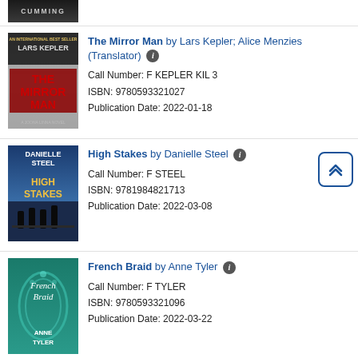[Figure (photo): Partial book cover showing 'CUMMING' text on dark background]
The Mirror Man by Lars Kepler; Alice Menzies (Translator) — Call Number: F KEPLER KIL 3 — ISBN: 9780593321027 — Publication Date: 2022-01-18
[Figure (photo): Book cover: The Mirror Man by Lars Kepler - dark thriller cover with large red text]
High Stakes by Danielle Steel — Call Number: F STEEL — ISBN: 9781984821713 — Publication Date: 2022-03-08
[Figure (photo): Book cover: High Stakes by Danielle Steel - blue cover with silhouettes of people]
French Braid by Anne Tyler — Call Number: F TYLER — ISBN: 9780593321096 — Publication Date: 2022-03-22
[Figure (photo): Book cover: French Braid by Anne Tyler - teal/green cover with decorative arch]